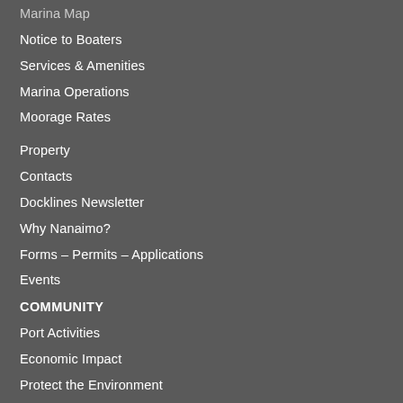Marina Map
Notice to Boaters
Services & Amenities
Marina Operations
Moorage Rates
Property
Contacts
Docklines Newsletter
Why Nanaimo?
Forms – Permits – Applications
Events
COMMUNITY
Port Activities
Economic Impact
Protect the Environment
Community Involvement Fund
Community Activities